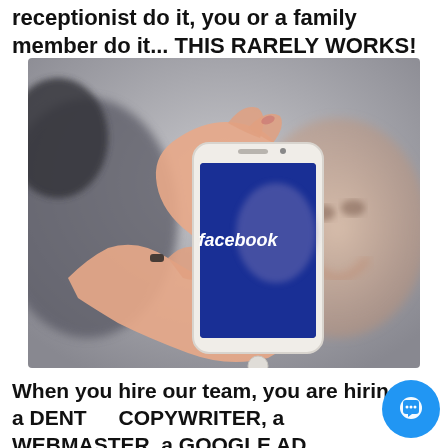receptionist do it, you or a family member do it... THIS RARELY WORKS!
[Figure (photo): Hands holding a white smartphone displaying the Facebook app logo on a dark blue screen, with a blurred face visible on the screen background.]
When you hire our team, you are hiring a DENTAL COPYWRITER, a WEBMASTER, a GOOGLE ADS SPECIALIST, a SOCIAL MEDIA SPECIALIST, and a